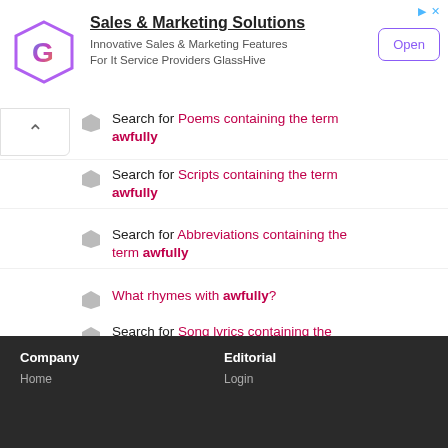[Figure (infographic): Ad banner for GlassHive Sales & Marketing Solutions with hexagon logo, text, and Open button]
Search for Poems containing the term awfully
Search for Scripts containing the term awfully
Search for Abbreviations containing the term awfully
What rhymes with awfully?
Search for Song lyrics containing the word awfully
Search for awfully on Amazon
Search for awfully on Google
Company  Home  |  Editorial  Login